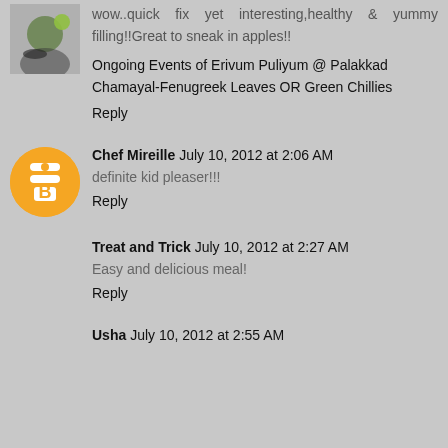wow..quick fix yet interesting,healthy & yummy filling!!Great to sneak in apples!!
Ongoing Events of Erivum Puliyum @ Palakkad Chamayal-Fenugreek Leaves OR Green Chillies
Reply
Chef Mireille July 10, 2012 at 2:06 AM
definite kid pleaser!!!
Reply
Treat and Trick July 10, 2012 at 2:27 AM
Easy and delicious meal!
Reply
Usha July 10, 2012 at 2:55 AM